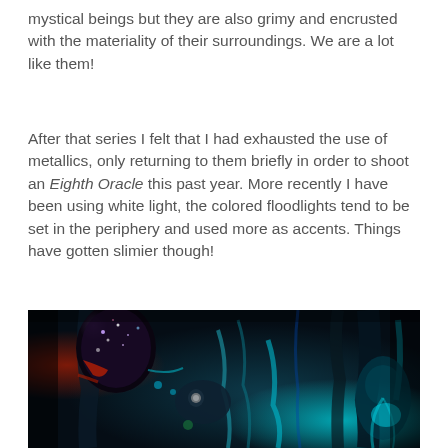mystical beings but they are also grimy and encrusted with the materiality of their surroundings. We are a lot like them!
After that series I felt that I had exhausted the use of metallics, only returning to them briefly in order to shoot an Eighth Oracle this past year. More recently I have been using white light, the colored floodlights tend to be set in the periphery and used more as accents. Things have gotten slimier though!
[Figure (photo): Dark, surreal artistic photograph featuring figures covered in metallic and colorful paint/slime against a dark background with teal and red lighting accents. Multiple faces and figures are visible including one with glittery paint on the head and another face looking upward.]